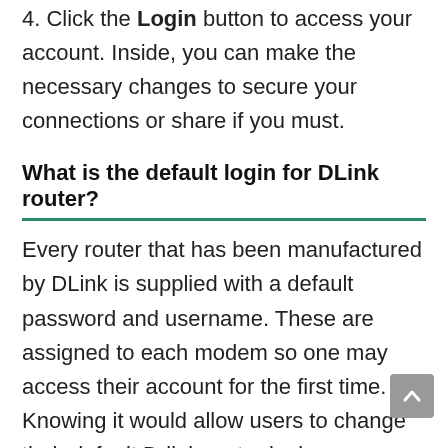4. Click the Login button to access your account. Inside, you can make the necessary changes to secure your connections or share if you must.
What is the default login for DLink router?
Every router that has been manufactured by DLink is supplied with a default password and username. These are assigned to each modem so one may access their account for the first time. Knowing it would allow users to change their default D-link router login credentials. That being said, your default username is admin and no password has been set.
How to change DLink router login details?